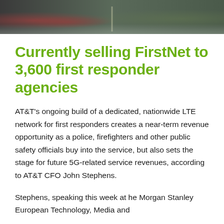[Figure (photo): Aerial or elevated view of a road/path lined with flowering trees and greenery, shown in dark tones at the top of the page as a banner image.]
Currently selling FirstNet to 3,600 first responder agencies
AT&T's ongoing build of a dedicated, nationwide LTE network for first responders creates a near-term revenue opportunity as a police, firefighters and other public safety officials buy into the service, but also sets the stage for future 5G-related service revenues, according to AT&T CFO John Stephens.
Stephens, speaking this week at he Morgan Stanley European Technology, Media and